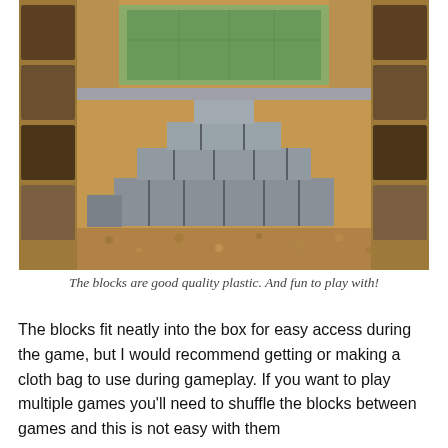[Figure (photo): Overhead photo of a board game setup showing grey stepped/tiered plastic blocks arranged in a pyramid-like formation on a illustrated game board with stone and earthy artwork. Decorative card artwork is visible along the sides of the board.]
The blocks are good quality plastic. And fun to play with!
The blocks fit neatly into the box for easy access during the game, but I would recommend getting or making a cloth bag to use during gameplay. If you want to play multiple games you'll need to shuffle the blocks between games and this is not easy with them